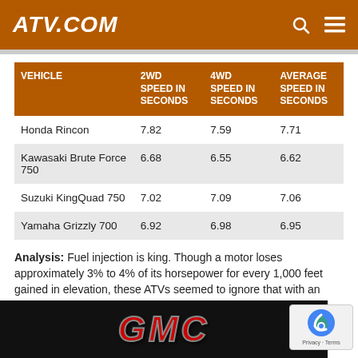ATV.COM
| VEHICLE | 2WD SPEED IN SECONDS | 4WD SPEED IN SECONDS | AVERAGE SPEED IN SECONDS |
| --- | --- | --- | --- |
| Honda Rincon | 7.82 | 7.59 | 7.71 |
| Kawasaki Brute Force 750 | 6.68 | 6.55 | 6.62 |
| Suzuki KingQuad 750 | 7.02 | 7.09 | 7.06 |
| Yamaha Grizzly 700 | 6.92 | 6.98 | 6.95 |
Analysis: Fuel injection is king. Though a motor loses approximately 3% to 4% of its horsepower for every 1,000 feet gained in elevation, these ATVs seemed to ignore that with an additional 4,500 feet under their tires from the previous Brute F... Brute
[Figure (logo): GMC logo advertisement banner at bottom of page]